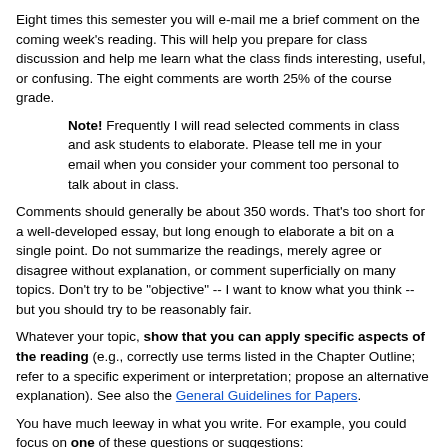Eight times this semester you will e-mail me a brief comment on the coming week's reading. This will help you prepare for class discussion and help me learn what the class finds interesting, useful, or confusing. The eight comments are worth 25% of the course grade.
Note! Frequently I will read selected comments in class and ask students to elaborate. Please tell me in your email when you consider your comment too personal to talk about in class.
Comments should generally be about 350 words. That's too short for a well-developed essay, but long enough to elaborate a bit on a single point. Do not summarize the readings, merely agree or disagree without explanation, or comment superficially on many topics. Don't try to be "objective" -- I want to know what you think -- but you should try to be reasonably fair.
Whatever your topic, show that you can apply specific aspects of the reading (e.g., correctly use terms listed in the Chapter Outline; refer to a specific experiment or interpretation; propose an alternative explanation). See also the General Guidelines for Papers.
You have much leeway in what you write. For example, you could focus on one of these questions or suggestions:
Answer an in-class question in more depth than we went into in class.
Identify and analyze a specific interaction or setting (in class,